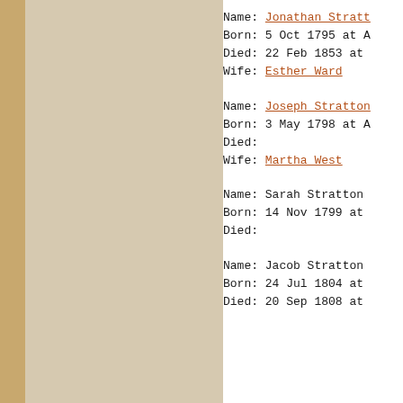Name: Jonathan Stratt...
Born: 5 Oct 1795 at A...
Died: 22 Feb 1853 at ...
Wife: Esther Ward
Name: Joseph Stratton...
Born: 3 May 1798 at A...
Died:
Wife: Martha West
Name: Sarah Stratton...
Born: 14 Nov 1799 at ...
Died:
Name: Jacob Stratton...
Born: 24 Jul 1804 at ...
Died: 20 Sep 1808 at ...